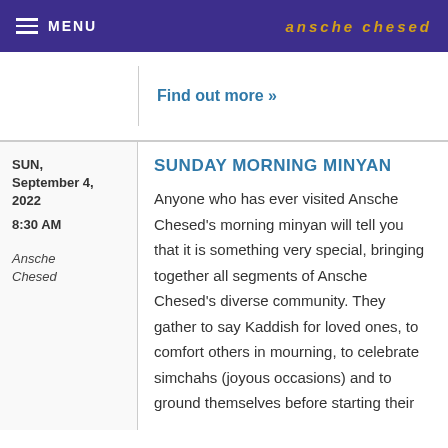MENU | ansche chesed
Find out more »
SUN, September 4, 2022 8:30 AM Ansche Chesed
SUNDAY MORNING MINYAN
Anyone who has ever visited Ansche Chesed's morning minyan will tell you that it is something very special, bringing together all segments of Ansche Chesed's diverse community. They gather to say Kaddish for loved ones, to comfort others in mourning, to celebrate simchahs (joyous occasions) and to ground themselves before starting their